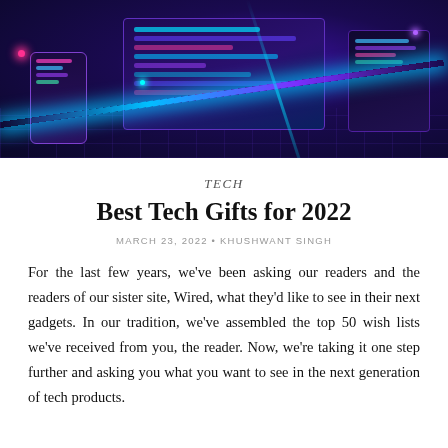[Figure (illustration): A dark purple/blue isometric tech illustration showing laptops, tablets, phones, holographic dashboards, charts, and glowing neon light trails on a dark background.]
TECH
Best Tech Gifts for 2022
MARCH 23, 2022 • KHUSHWANT SINGH
For the last few years, we've been asking our readers and the readers of our sister site, Wired, what they'd like to see in their next gadgets. In our tradition, we've assembled the top 50 wish lists we've received from you, the reader. Now, we're taking it one step further and asking you what you want to see in the next generation of tech products.